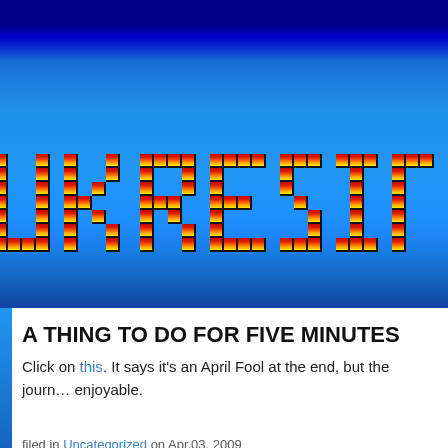[Figure (screenshot): UK Resistance blog header banner with pixelated fire-colored text 'UK RESI' visible on blue gradient background]
A THING TO DO FOR FIVE MINUTES
Click on this. It says it's an April Fool at the end, but the journey is enjoyable.
filed in Uncategorized on Apr.03, 2009